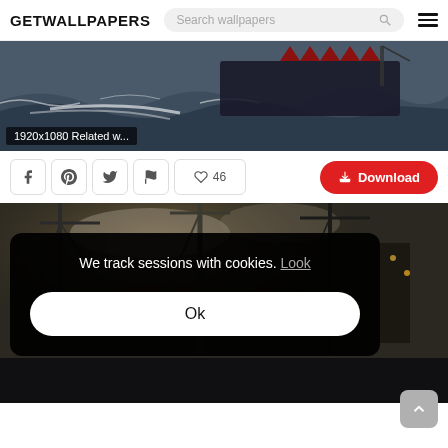GETWALLPAPERS — Search wallpapers
[Figure (screenshot): Warship on rough ocean with shark mouth design, dark stormy ocean scene. Label: 1920x1080 Related w...]
1920x1080 Related w...
[Figure (screenshot): Social sharing icons: Facebook, Pinterest, Twitter, Flag, Heart 46 likes, and red Download button]
[Figure (screenshot): Dark industrial harbor scene with cranes in a post-apocalyptic style]
We track sessions with cookies. Look
Ok